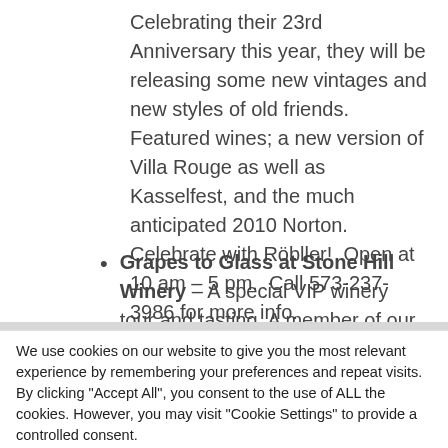Celebrating their 23rd Anniversary this year, they will be releasing some new vintages and new styles of old friends. Featured wines; a new version of Villa Rouge as well as Kasselfest, and the much anticipated 2010 Norton. Celebrate with Röbller!  Open at 10 am – 5 pm.  Call 573-237-3986 for more info.
Grapes to Glass at Stone Hill Winery – A special VIP winery tour and tasting. A member of our wine making staff will lead you behind the
We use cookies on our website to give you the most relevant experience by remembering your preferences and repeat visits. By clicking "Accept All", you consent to the use of ALL the cookies. However, you may visit "Cookie Settings" to provide a controlled consent.